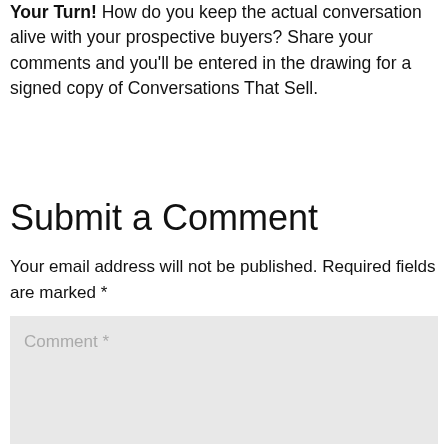Your Turn! How do you keep the actual conversation alive with your prospective buyers? Share your comments and you'll be entered in the drawing for a signed copy of Conversations That Sell.
Submit a Comment
Your email address will not be published. Required fields are marked *
Comment *